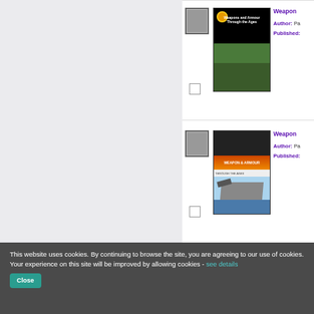[Figure (screenshot): Book listing entry 1: book icon, cover image of 'Weapons and Armour Through the Ages', title starting with 'Weapon...', Author: Pa..., Published:]
[Figure (screenshot): Book listing entry 2: book icon, cover image showing military scene with 'Weapon Armour' text and jet fighter, title starting with 'Weapon...', Author: Pa..., Published:]
This website uses cookies. By continuing to browse the site, you are agreeing to our use of cookies. Your experience on this site will be improved by allowing cookies - see details
Close